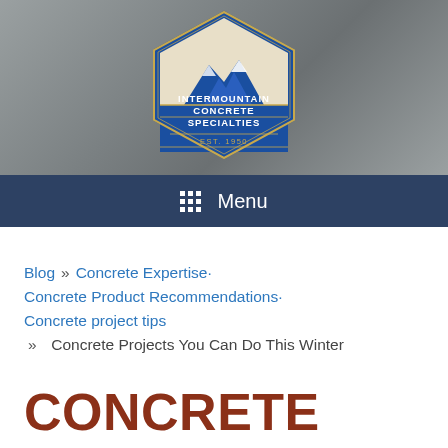[Figure (logo): Intermountain Concrete Specialties logo on concrete textured banner background. Hexagonal badge shape with mountain illustration. Text: INTERMOUNTAIN CONCRETE SPECIALTIES EST. 1950.]
Menu
Blog » Concrete Expertise· Concrete Product Recommendations· Concrete project tips » Concrete Projects You Can Do This Winter
CONCRETE PROJECTS YOU CAN DO THIS